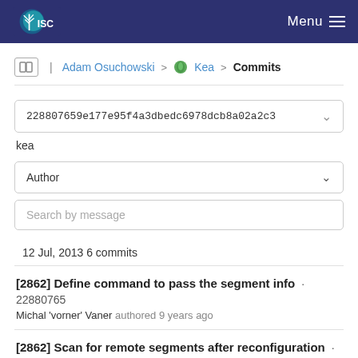ISC Menu
Adam Osuchowski > Kea > Commits
228807659e177e95f4a3dbedc6978dcb8a02a2c3
kea
Author
Search by message
12 Jul, 2013 6 commits
[2862] Define command to pass the segment info · 22880765
Michal 'vorner' Vaner authored 9 years ago
[2862] Scan for remote segments after reconfiguration · ef523ea6
Michal 'vorner' Vaner authored 9 years ago